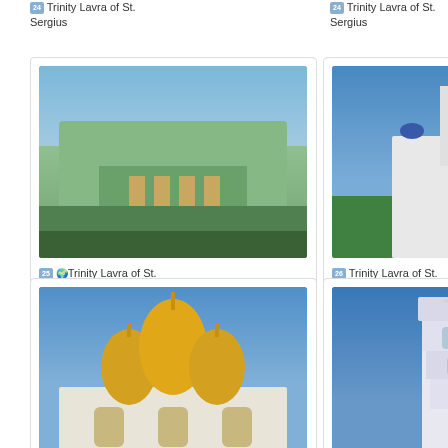24 Trinity Lavra of St. Sergius
24 Trinity Lavra of St. Sergius
[Figure (photo): Green neoclassical building with columns, Trinity Lavra of St. Sergius]
25 🌍Trinity Lavra of St. Sergius
[Figure (photo): White church with blue domes and bell tower, Trinity Lavra of St. Sergius]
26 Trinity Lavra of St. Sergius
[Figure (photo): Golden domed cathedral, Trinity Lavra of St. Sergius]
27 Trinity Lavra of St. Sergius
[Figure (photo): White bell tower against blue sky, Trinity Lavra of St. Sergius]
28 Trinity Lavra of St. Sergius
[Figure (photo): Partial view of Trinity Lavra of St. Sergius]
[Figure (photo): Partial view of Trinity Lavra of St. Sergius]